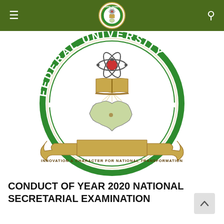Federal University Oye-Ekiti navigation bar with logo
[Figure (logo): Federal University Oye-Ekiti circular seal/crest. Green circular border with white text reading 'FEDERAL UNIVERSITY' on top arc and 'OYE-EKITI' on bottom. Inside: atom symbol at top, open book in center, map of Nigeria below. Tan/gold banner ribbon at bottom reading 'INNOVATION & CHARACTER FOR NATIONAL TRANSFORMATION'. Green and white color scheme with gold accents.]
CONDUCT OF YEAR 2020 NATIONAL SECRETARIAL EXAMINATION